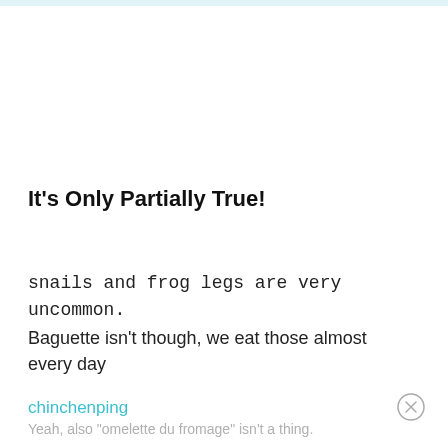It's Only Partially True!
snails and frog legs are very uncommon.
Baguette isn't though, we eat those almost every day
chinchenping
Yeah, also "omelette du fromage" isn't a thing.